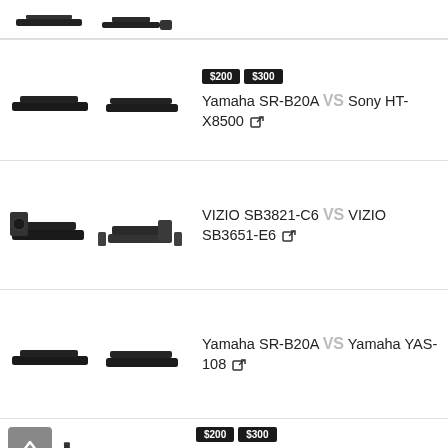[Figure (illustration): Partial top card showing two soundbar product images (cropped at top of page)]
[Figure (illustration): Card: Yamaha SR-B20A vs Sony HT-X8500 with $200 and $300 price tags and two soundbar images]
Yamaha SR-B20A VS Sony HT-X8500
[Figure (illustration): Card: VIZIO SB3821-C6 vs VIZIO SB3651-E6 with two soundbar/subwoofer system images]
VIZIO SB3821-C6 VS VIZIO SB3651-E6
[Figure (illustration): Card: Yamaha SR-B20A vs Yamaha YAS-108 with two soundbar images]
Yamaha SR-B20A VS Yamaha YAS-108
[Figure (illustration): Partial bottom card showing LG SNC4R vs Vizio V51-H6 with $200 and $300 price tags (cropped at bottom)]